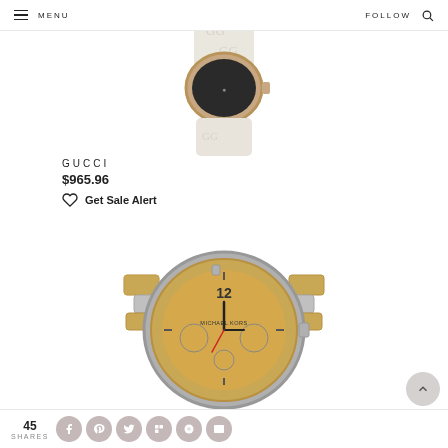MENU | FOLLOW
[Figure (photo): Gucci watch with white Gucci-monogram band and rose gold case, partially cropped at top]
GUCCI
$965.96
Get Sale Alert
[Figure (photo): Michael Kors chronograph watch with gold/silver metal bracelet and gold dial showing '12' at top]
45 SHARES | social share icons: Facebook, Pinterest, Twitter, Flipboard, Mix, Email